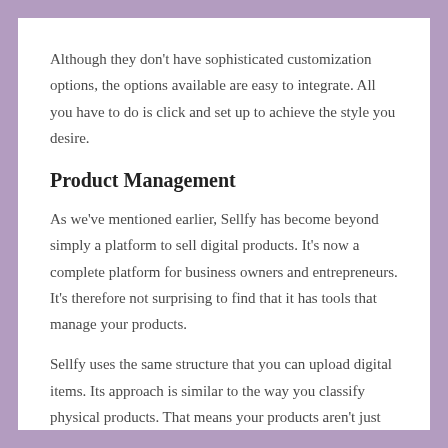Although they don't have sophisticated customization options, the options available are easy to integrate. All you have to do is click and set up to achieve the style you desire.
Product Management
As we've mentioned earlier, Sellfy has become beyond simply a platform to sell digital products. It's now a complete platform for business owners and entrepreneurs. It's therefore not surprising to find that it has tools that manage your products.
Sellfy uses the same structure that you can upload digital items. Its approach is similar to the way you classify physical products. That means your products aren't just labeled; they're also categorized. It's an excellent way for you to manage your store.
There's no limit on how many items you can offer as a bonus. You